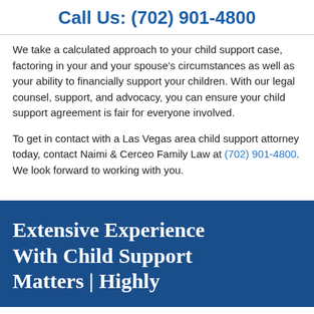Call Us: (702) 901-4800
We take a calculated approach to your child support case, factoring in your and your spouse's circumstances as well as your ability to financially support your children. With our legal counsel, support, and advocacy, you can ensure your child support agreement is fair for everyone involved.
To get in contact with a Las Vegas area child support attorney today, contact Naimi & Cerceo Family Law at (702) 901-4800. We look forward to working with you.
Extensive Experience With Child Support Matters | Highly